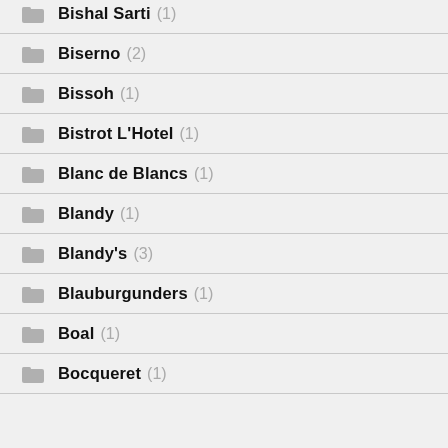Biserno (2)
Bissoh (1)
Bistrot L'Hotel (1)
Blanc de Blancs (1)
Blandy (1)
Blandy's (3)
Blauburgunders (1)
Boal (1)
Bocqueret (1)